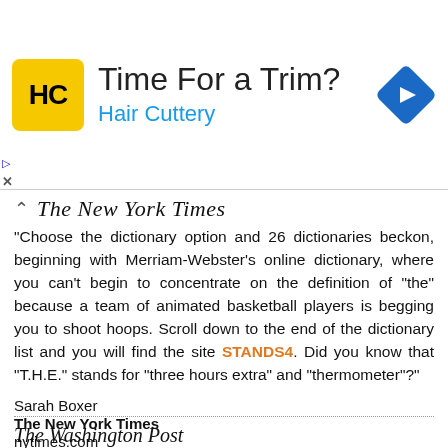[Figure (infographic): Hair Cuttery advertisement banner with yellow HC logo, 'Time For a Trim?' headline, 'Hair Cuttery' subtitle in blue, and a blue navigation arrow icon on the right]
[Figure (logo): The New York Times masthead logo in blackletter font with chevron-up icon to the left]
"Choose the dictionary option and 26 dictionaries beckon, beginning with Merriam-Webster's online dictionary, where you can't begin to concentrate on the definition of "the" because a team of animated basketball players is begging you to shoot hoops. Scroll down to the end of the dictionary list and you will find the site STANDS4. Did you know that "T.H.E." stands for "three hours extra" and "thermometer"?"
Sarah Boxer
The New York Times
nytimes.com
[Figure (logo): The Washington Post masthead logo in blackletter font]
Help File
"You can try a Web search for "what does [random abbreviation]